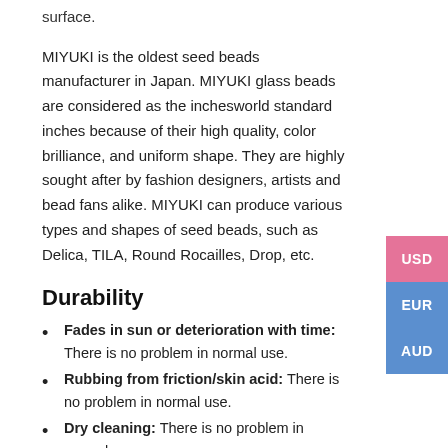surface.
MIYUKI is the oldest seed beads manufacturer in Japan. MIYUKI glass beads are considered as the inchesworld standard inches because of their high quality, color brilliance, and uniform shape. They are highly sought after by fashion designers, artists and bead fans alike. MIYUKI can produce various types and shapes of seed beads, such as Delica, TILA, Round Rocailles, Drop, etc.
Durability
Fades in sun or deterioration with time: There is no problem in normal use.
Rubbing from friction/skin acid: There is no problem in normal use.
Dry cleaning: There is no problem in normal use.
Nickle: There is no problem in normal use
Delica Beads come in various sizes, size 15 is Small and size 8 is